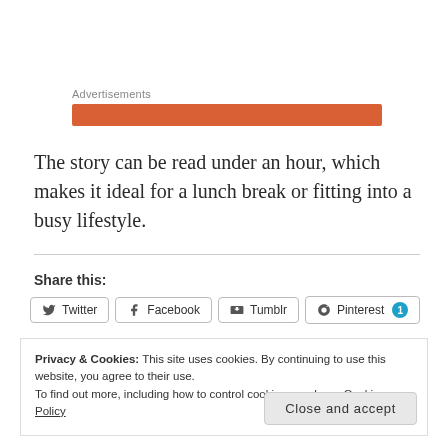Advertisements
[Figure (other): Orange/red advertisement banner bar]
The story can be read under an hour, which makes it ideal for a lunch break or fitting into a busy lifestyle.
Share this:
Twitter  Facebook  Tumblr  Pinterest 1
Privacy & Cookies: This site uses cookies. By continuing to use this website, you agree to their use.
To find out more, including how to control cookies, see here: Cookie Policy
Close and accept